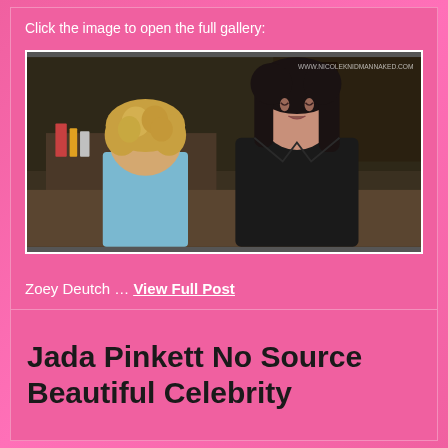Click the image to open the full gallery:
[Figure (photo): Movie scene showing two people — a person with curly blonde hair seen from behind and a dark-haired woman in a black jacket facing them. Watermark reads: WWW.NICOLEKNIDMANNAKED.COM]
Zoey Deutch … View Full Post
Jada Pinkett No Source Beautiful Celebrity